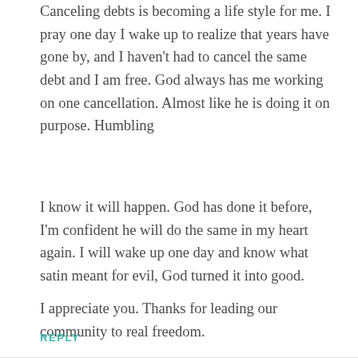Canceling debts is becoming a life style for me. I pray one day I wake up to realize that years have gone by, and I haven't had to cancel the same debt and I am free. God always has me working on one cancellation. Almost like he is doing it on purpose. Humbling
I know it will happen. God has done it before, I'm confident he will do the same in my heart again. I will wake up one day and know what satin meant for evil, God turned it into good.
I appreciate you. Thanks for leading our community to real freedom.
REPLY